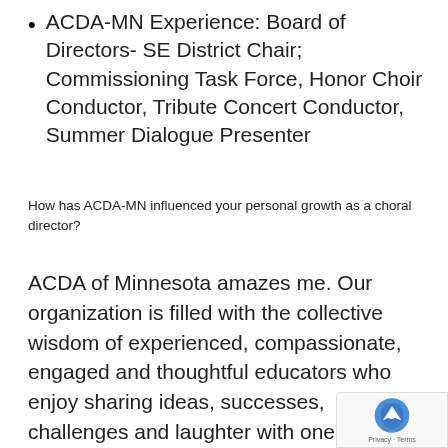ACDA-MN Experience:  Board of Directors- SE District Chair; Commissioning Task Force, Honor Choir Conductor, Tribute Concert Conductor, Summer Dialogue Presenter
How has ACDA-MN influenced your personal growth as a choral director?
ACDA of Minnesota amazes me.  Our organization is filled with the collective wisdom of experienced, compassionate, engaged and thoughtful educators who enjoy sharing ideas, successes, challenges and laughter with one another.  ACDA- MN welcomes, encourages and inspires new conductor/teachers.  As an unseasoned but enthusiastic teacher starting out, ACDA-MN served as a lifeline for me, exposing me to a world